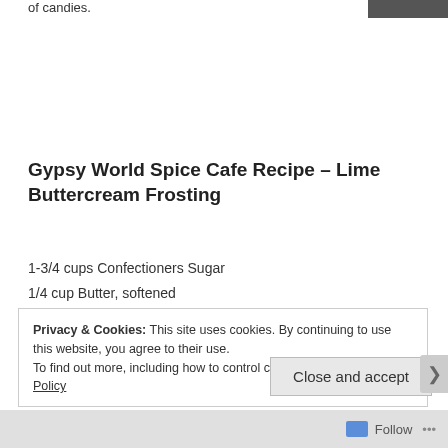of candies.
Gypsy World Spice Cafe Recipe – Lime Buttercream Frosting
1-3/4 cups Confectioners Sugar
1/4 cup Butter, softened
Privacy & Cookies: This site uses cookies. By continuing to use this website, you agree to their use.
To find out more, including how to control cookies, see here: Cookie Policy
Close and accept